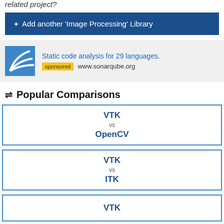related project?
+ Add another 'Image Processing' Library
[Figure (logo): SonarQube logo - blue square with white arc lines]
Static code analysis for 29 languages.
sponsored www.sonarqube.org
⇌ Popular Comparisons
VTK vs OpenCV
VTK vs ITK
VTK